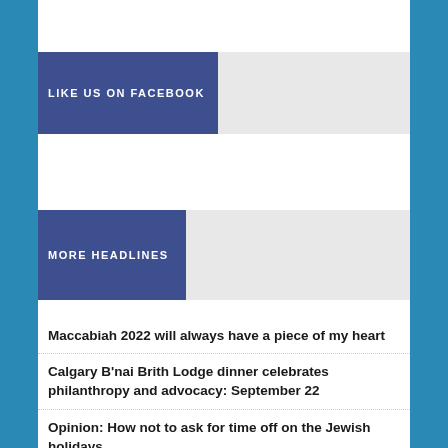LIKE US ON FACEBOOK
MORE HEADLINES
Maccabiah 2022 will always have a piece of my heart
Calgary B'nai Brith Lodge dinner celebrates philanthropy and advocacy: September 22
Opinion: How not to ask for time off on the Jewish holidays